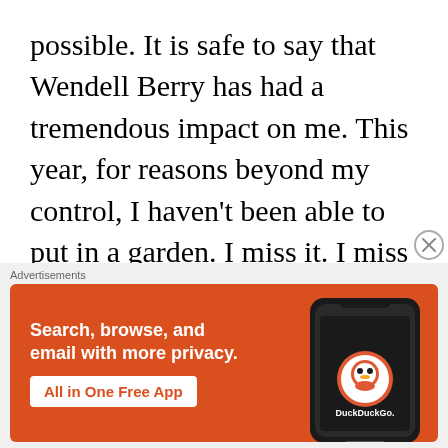possible. It is safe to say that Wendell Berry has had a tremendous impact on me. This year, for reasons beyond my control, I haven't been able to put in a garden. I miss it. I miss the hard work as well as knowing where my food comes from. I miss participating in getting food to our table. I miss the way our family worked together to
[Figure (other): DuckDuckGo advertisement banner showing a smartphone with DuckDuckGo logo and text 'Search, browse, and email with more privacy. All in One Free App']